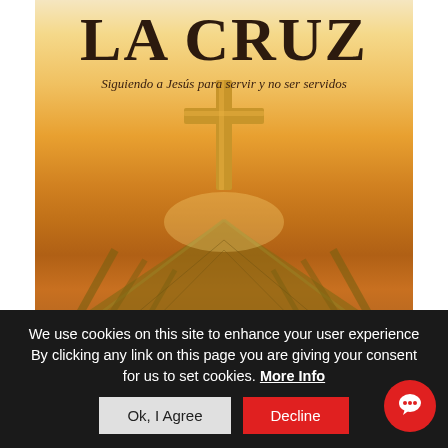[Figure (illustration): Book cover for 'La Cruz' showing a golden cross on a wooden bridge/pier with warm sunset lighting. Title 'LA CRUZ' in large serif letters at top, subtitle 'Siguiendo a Jesús para servir y no ser servidos' below, and partial author text at bottom.]
LA CRUZ
Siguiendo a Jesús para servir y no ser servidos
We use cookies on this site to enhance your user experience By clicking any link on this page you are giving your consent for us to set cookies. More Info
Ok, I Agree
Decline